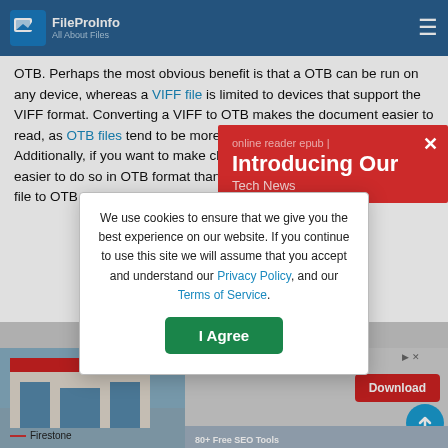FileProInfo — All About Files
OTB. Perhaps the most obvious benefit is that a OTB can be run on any device, whereas a VIFF file is limited to devices that support the VIFF format. Converting a VIFF to OTB makes the document easier to read, as OTB files tend to be more compatible than VIFF files. Additionally, if you want to make changes to a document, it is much easier to do so in OTB format than in VIFF format. Converting a VIFF file to OTB can be done online for free using a VIFF to OTB converter.
[Figure (screenshot): Red popup banner with title 'online reader epub | Tech News' and close X button, overlapping the body text]
[Figure (screenshot): Cookie consent dialog: 'We use cookies to ensure that we give you the best experience on our website. If you continue to use this site we will assume that you accept and understand our Privacy Policy, and our Terms of Service.' with I Agree button]
[Figure (photo): Advertisement image showing a Firestone store exterior with label '— Firestone']
[Figure (screenshot): Ad banner with Download button in red on the right side]